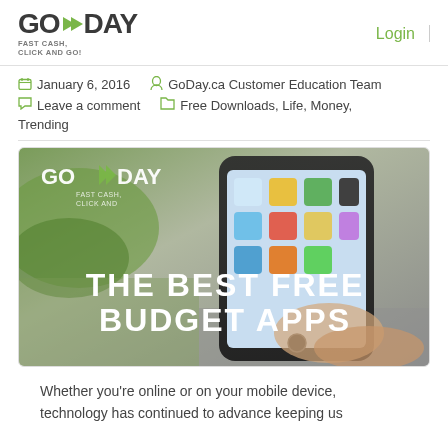GODAY FAST CASH, CLICK AND GO! Login
January 6, 2016   GoDay.ca Customer Education Team   Leave a comment   Free Downloads, Life, Money, Trending
[Figure (photo): Photo of a hand holding a smartphone with app icons, overlaid with text reading THE BEST FREE BUDGET APPS and GoDay logo watermark]
Whether you're online or on your mobile device, technology has continued to advance keeping us